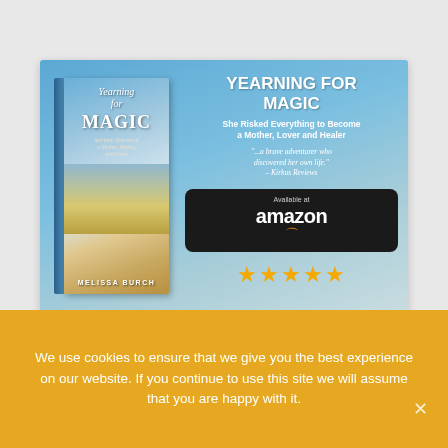[Figure (illustration): Book advertisement banner for 'Yearning for Magic' by Melissa Burch. Blue sky background with book cover on left showing title 'Yearning Magic', and text on right: 'YEARNING FOR MAGIC', 'She Risked Everything to Become a Mother, Lover and Healer', quote from Kirkus Reviews, Amazon 'Available at' button with 5 gold stars.]
We use cookies to ensure that we give you the best experience on our website. If you continue to use this site we will assume that you are happy with it.